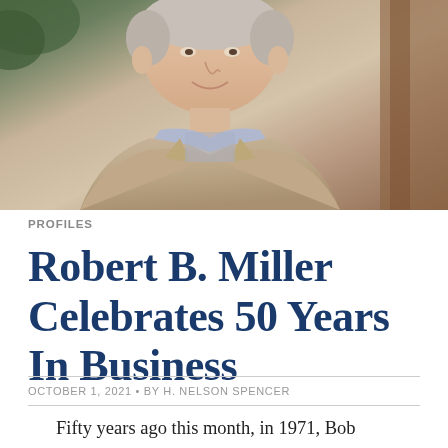[Figure (photo): Portrait photo of Robert B. Miller, an older man wearing a tan/beige blazer over a patterned shirt, smiling slightly, with a warm indoor background.]
PROFILES
Robert B. Miller Celebrates 50 Years In Business
OCTOBER 1, 2021 • BY H. NELSON SPENCER
Fifty years ago this month, in 1971, Bob Miller inserted a key into the lock on the door of his